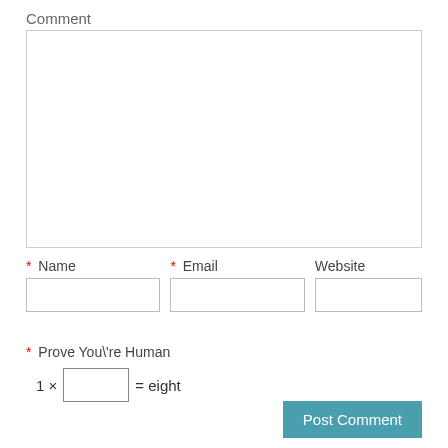Comment
[Figure (other): Empty textarea input box for comment]
* Name
* Email
Website
[Figure (other): Three input fields: Name, Email, Website]
* Prove You\'re Human
1 × [input box] = eight
Post Comment